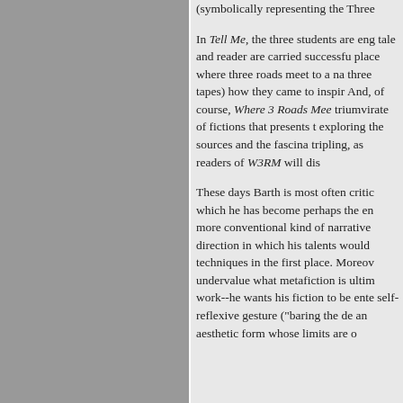(symbolically representing the Three
In Tell Me, the three students are eng tale and reader are carried successfu place where three roads meet to a na three tapes) how they came to inspir And, of course, Where 3 Roads Mee triumvirate of fictions that presents t exploring the sources and the fascina tripling, as readers of W3RM will dis
These days Barth is most often critic which he has become perhaps the en more conventional kind of narrative direction in which his talents would techniques in the first place. Moreov undervalue what metafiction is ultim work--he wants his fiction to be ente self-reflexive gesture ("baring the de an aesthetic form whose limits are o